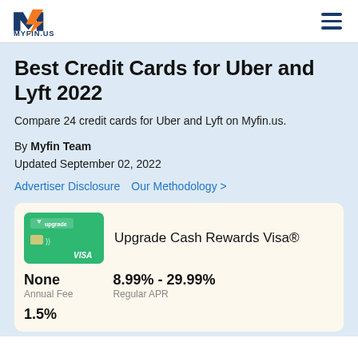MYFIN.US
Best Credit Cards for Uber and Lyft 2022
Compare 24 credit cards for Uber and Lyft on Myfin.us.
By Myfin Team
Updated September 02, 2022
Advertiser Disclosure  Our Methodology >
[Figure (illustration): Green Upgrade Cash Rewards Visa card image]
Upgrade Cash Rewards Visa®
None
Annual Fee
8.99% - 29.99%
Regular APR
1.5%